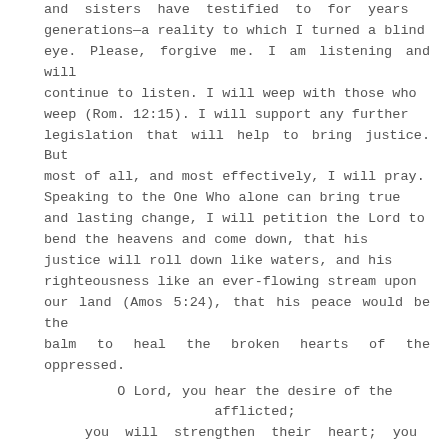and sisters have testified to for years generations—a reality to which I turned a blind eye. Please, forgive me. I am listening and will continue to listen. I will weep with those who weep (Rom. 12:15). I will support any further legislation that will help to bring justice. But most of all, and most effectively, I will pray. Speaking to the One Who alone can bring true and lasting change, I will petition the Lord to bend the heavens and come down, that his justice will roll down like waters, and his righteousness like an ever-flowing stream upon our land (Amos 5:24), that his peace would be the balm to heal the broken hearts of the oppressed.
O Lord, you hear the desire of the afflicted; you will strengthen their heart; you will